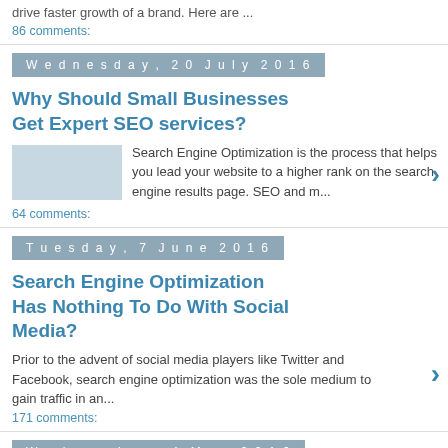drive faster growth of a brand. Here are ...
86 comments:
Wednesday, 20 July 2016
Why Should Small Businesses Get Expert SEO services?
Search Engine Optimization is the process that helps you lead your website to a higher rank on the search engine results page. SEO and m...
64 comments:
Tuesday, 7 June 2016
Search Engine Optimization Has Nothing To Do With Social Media?
Prior to the advent of social media players like Twitter and Facebook, search engine optimization was the sole medium to gain traffic in an...
171 comments:
Wednesday, 4 May 2016